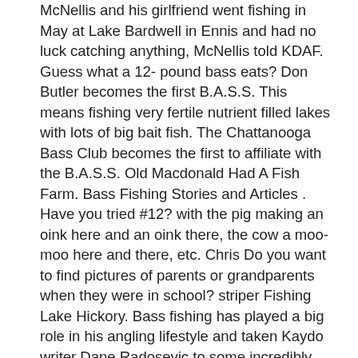McNellis and his girlfriend went fishing in May at Lake Bardwell in Ennis and had no luck catching anything, McNellis told KDAF. Guess what a 12- pound bass eats? Don Butler becomes the first B.A.S.S. This means fishing very fertile nutrient filled lakes with lots of big bait fish. The Chattanooga Bass Club becomes the first to affiliate with the B.A.S.S. Old Macdonald Had A Fish Farm. Bass Fishing Stories and Articles . Have you tried #12? with the pig making an oink here and an oink there, the cow a moo-moo here and there, etc. Chris Do you want to find pictures of parents or grandparents when they were in school? striper Fishing Lake Hickory. Bass fishing has played a big role in his angling lifestyle and taken Kaydo writer Dane Radosevic to some incredibly picturesque waterways. It's a kids only lake that seems pretty decent. Old friend, Dave Mull, took the drive all the way from Paw Paw, Michigan, to test the chilly, 43 degree, Buffalo Harbor waters of Lake Erie. They are Punk Farm and tonight they're ready to ROCK! They don't